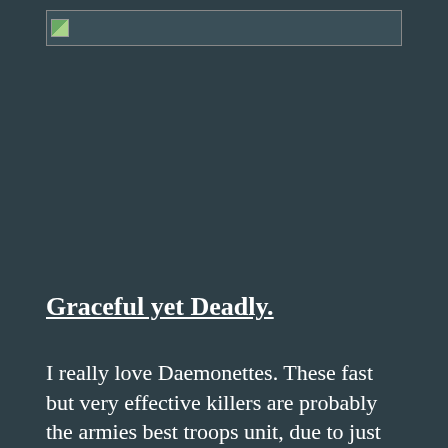[Figure (photo): A partially loaded or placeholder image spanning most of the page width near the top]
Graceful yet Deadly.
I really love Daemonettes. These fast but very effective killers are probably the armies best troops unit, due to just how good they are in the assault phase. Coming with Weapon Skill 5, Initiative 5, two attacks and rending for just